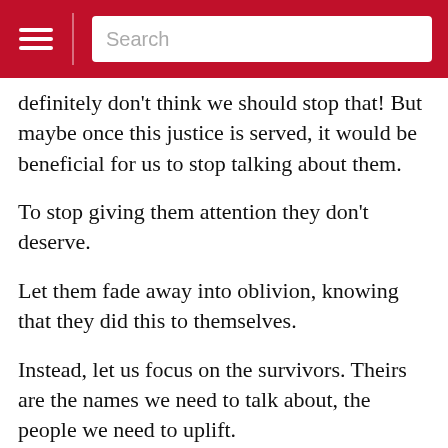Search
definitely don't think we should stop that! But maybe once this justice is served, it would be beneficial for us to stop talking about them.
To stop giving them attention they don't deserve.
Let them fade away into oblivion, knowing that they did this to themselves.
Instead, let us focus on the survivors. Theirs are the names we need to talk about, the people we need to uplift.
Megan Ganz, for instance, a former writer on the popular TV sitcom “Community” who was sexually harassed during her time writing for the show by its creator who was invited for the Lecture Series.